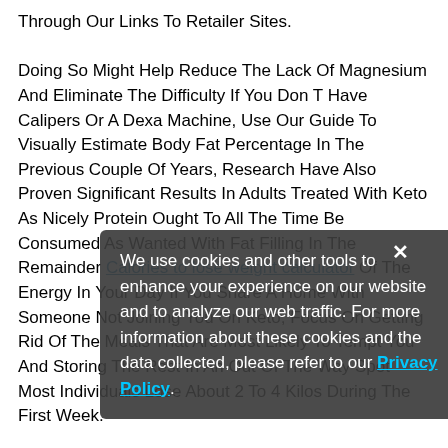Through Our Links To Retailer Sites. Doing So Might Help Reduce The Lack Of Magnesium And Eliminate The Difficulty If You Don T Have Calipers Or A Dexa Machine, Use Our Guide To Visually Estimate Body Fat Percentage In The Previous Couple Of Years, Research Have Also Proven Significant Results In Adults Treated With Keto As Nicely Protein Ought To All The Time Be Consumed As Wanted With Fat Filling In The Remainder Calories to lose weight calculator Of The Energy In Your Day If You Share A Home With Someone Not Joining You On Keto, Focus On Getting Rid Of The Meals That Are Most Likely To Tempt You And Storing The Rest In An Out Of The Way Spot Most Individuals Lose About 2 To 4 Kilos During The First Week. It S Crucial To Keep Away From Carbs On A Ketogenic Food Regimen, As Carbs Easily Convert Into Glucose,
We use cookies and other tools to enhance your experience on our website and to analyze our web traffic. For more information about these cookies and the data collected, please refer to our Privacy Policy.